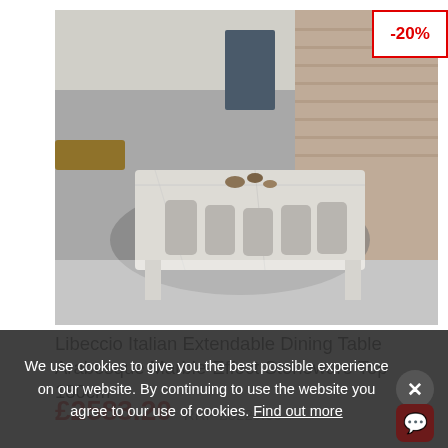[Figure (photo): Overhead/angled view of a marble-effect dining table with chairs in an industrial-style room with brick wall and concrete floor.]
-20%
Libeccio Italian Extendable Dining Table Arabesque Marble-Effect Stoneware Top 180cm
£2583.20   RRP £3229.00
We use cookies to give you the best possible experience on our website. By continuing to use the website you agree to our use of cookies. Find out more